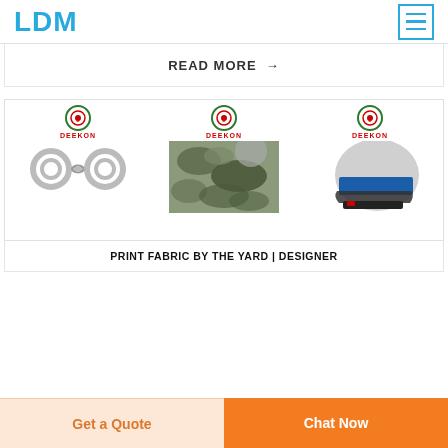LDM
READ MORE →
[Figure (photo): Three product images each with DEEKON logo: handcuffs on white background, camouflage fabric, and a blue/silver motorcycle helmet]
PRINT FABRIC BY THE YARD | DESIGNER
Get a Quote
Chat Now